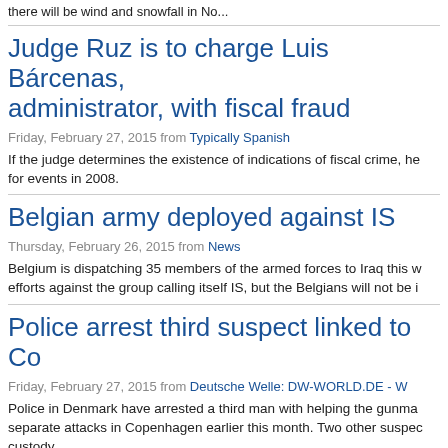there will be wind and snowfall in No...
Judge Ruz is to charge Luis Bárcenas, administrator, with fiscal fraud
Friday, February 27, 2015 from Typically Spanish
If the judge determines the existence of indications of fiscal crime, he... for events in 2008.
Belgian army deployed against IS
Thursday, February 26, 2015 from News
Belgium is dispatching 35 members of the armed forces to Iraq this w... efforts against the group calling itself IS, but the Belgians will not be i...
Police arrest third suspect linked to Co...
Friday, February 27, 2015 from Deutsche Welle: DW-WORLD.DE - W...
Police in Denmark have arrested a third man with helping the gunma... separate attacks in Copenhagen earlier this month. Two other suspec... custody.